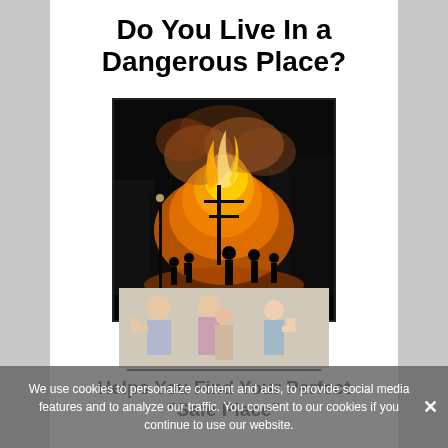Do You Live In a Dangerous Place?
[Figure (photo): Nighttime riot scene with silhouettes of people against a large fire with orange smoke and flames, buildings in background]
Important and Urgent
Relocation Manual
Helps You Find Your Perfect "Safe Place"
[Figure (photo): Family with children giving thumbs up, partially obscured by cookie consent banner]
We use cookies to personalize content and ads, to provide social media features and to analyze our traffic. You consent to our cookies if you continue to use our website.